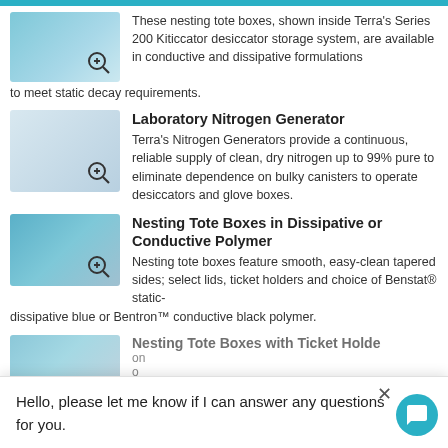These nesting tote boxes, shown inside Terra's Series 200 Kiticcator desiccator storage system, are available in conductive and dissipative formulations to meet static decay requirements.
Laboratory Nitrogen Generator
Terra's Nitrogen Generators provide a continuous, reliable supply of clean, dry nitrogen up to 99% pure to eliminate dependence on bulky canisters to operate desiccators and glove boxes.
Nesting Tote Boxes in Dissipative or Conductive Polymer
Nesting tote boxes feature smooth, easy-clean tapered sides; select lids, ticket holders and choice of Benstat® static-dissipative blue or Bentron™ conductive black polymer.
Nesting Tote Boxes with Ticket Holder
Hello, please let me know if I can answer any questions for you.